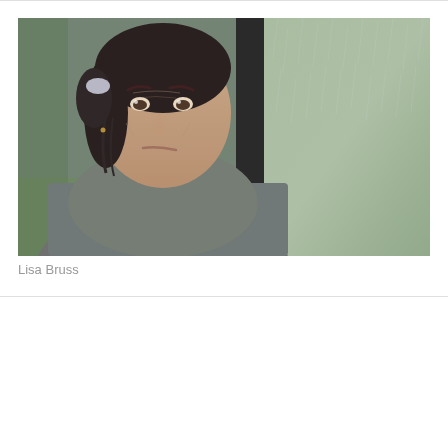[Figure (photo): A middle-aged woman with dark hair pulled back, wearing a gray hoodie sweatshirt. She appears distressed, with a furrowed brow and sad expression. She is standing outdoors in rainy conditions, visible through a wet glass window behind her. Green grass and a dark pillar are visible in the background.]
Lisa Bruss